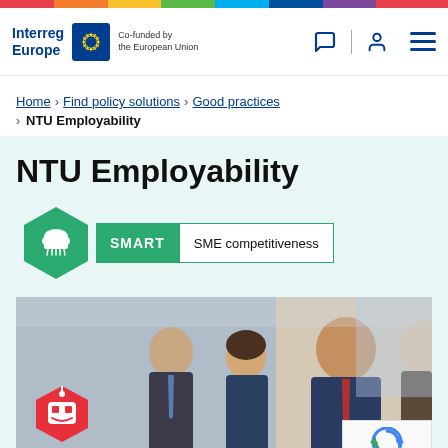Interreg Europe — Co-funded by the European Union
Home > Find policy solutions > Good practices > NTU Employability
NTU Employability
[Figure (logo): SMART SME competitiveness badge with cloud icon hexagon]
[Figure (photo): Professionals in a business meeting setting, with a red robot icon overlay and reCAPTCHA widget in corner]